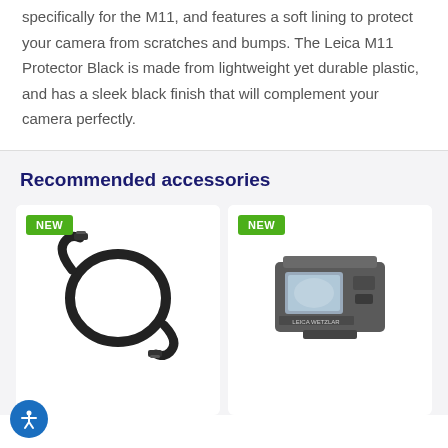specifically for the M11, and features a soft lining to protect your camera from scratches and bumps. The Leica M11 Protector Black is made from lightweight yet durable plastic, and has a sleek black finish that will complement your camera perfectly.
Recommended accessories
[Figure (photo): Product card showing a black USB/Thunderbolt cable coiled on white background, with a green NEW badge in the top left corner]
[Figure (photo): Product card showing a Leica viewfinder/optical accessory in dark grey on white background, with a green NEW badge in the top left corner]